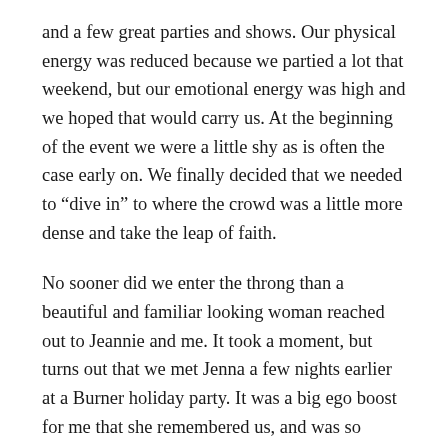and a few great parties and shows. Our physical energy was reduced because we partied a lot that weekend, but our emotional energy was high and we hoped that would carry us. At the beginning of the event we were a little shy as is often the case early on. We finally decided that we needed to “dive in” to where the crowd was a little more dense and take the leap of faith.
No sooner did we enter the throng than a beautiful and familiar looking woman reached out to Jeannie and me. It took a moment, but turns out that we met Jenna a few nights earlier at a Burner holiday party. It was a big ego boost for me that she remembered us, and was so interested in engaging with us at the mixer. We talked for quite awhile and learned that she’s a professional dancer with skills in Flow, Poi, and Fire Dancing. She also does some pole dancing but hasn’t had any training, so Jeannie offered to